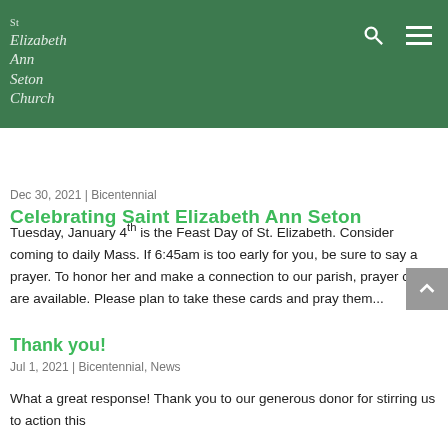Elizabeth Ann Seton Church
Celebrating Saint Elizabeth Ann Seton
Dec 30, 2021 | Bicentennial
Tuesday, January 4th is the Feast Day of St. Elizabeth. Consider coming to daily Mass. If 6:45am is too early for you, be sure to say a prayer. To honor her and make a connection to our parish, prayer cards are available. Please plan to take these cards and pray them...
Thank you!
Jul 1, 2021 | Bicentennial, News
What a great response! Thank you to our generous donor for stirring us to action this